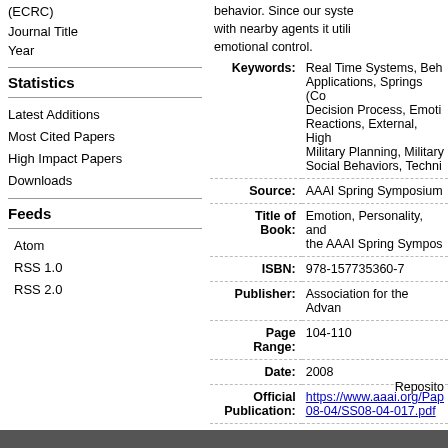(ECRC)
Journal Title
Year
Statistics
Latest Additions
Most Cited Papers
High Impact Papers
Downloads
Feeds
Atom
RSS 1.0
RSS 2.0
behavior. Since our syste… with nearby agents it utili… emotional control.
| Label | Value |
| --- | --- |
| Keywords: | Real Time Systems, Beh… Applications, Springs (Co… Decision Process, Emoti… Reactions, External, High… Military Planning, Military… Social Behaviors, Techni… |
| Source: | AAAI Spring Symposium… |
| Title of Book: | Emotion, Personality, and… the AAAI Spring Sympos… |
| ISBN: | 978-157735360-7 |
| Publisher: | Association for the Advan… |
| Page Range: | 104-110 |
| Date: | 2008 |
| Official Publication: | https://www.aaai.org/Pap… 08-04/SS08-04-017.pdf |
Reposito…